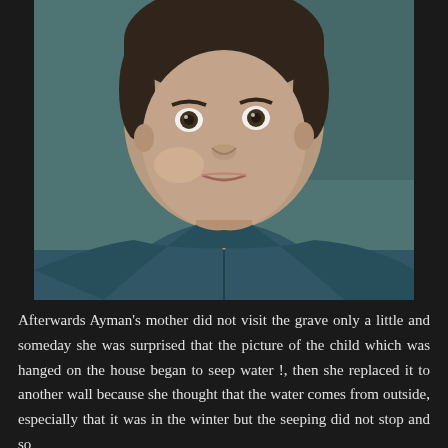[Figure (photo): A blurry close-up photograph of a young boy with dark hair and dark eyes, wearing a teal/blue jacket, looking toward the camera. The photo has a slightly faded, vintage quality with a teal-gray background.]
Afterwards Ayman's mother did not visit the grave only a little and someday she was surprised that the picture of the child which was hanged on the house began to seep water !, then she replaced it to another wall because she thought that the water comes from outside, especially that it was in the winter but the seeping did not stop and so